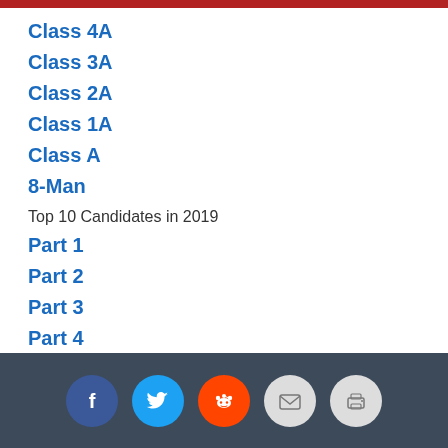Class 4A
Class 3A
Class 2A
Class 1A
Class A
8-Man
Top 10 Candidates in 2019
Part 1
Part 2
Part 3
Part 4
Part 5
Part 6
[Figure (infographic): Social share bar with icons for Facebook, Twitter, Reddit, Email, and Print on a dark navy background]